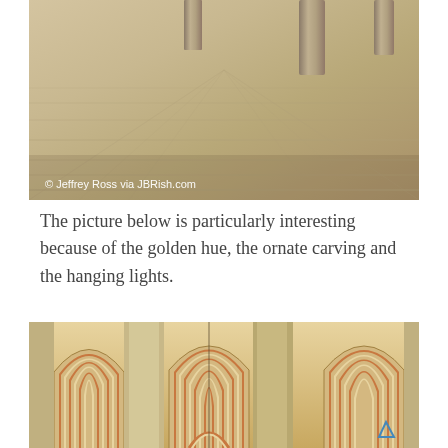[Figure (photo): Interior photo of a historic building showing a stone-tiled floor in warm sandy tones with columns visible in the background. Copyright watermark reads '© Jeffrey Ross via JBRish.com'.]
The picture below is particularly interesting because of the golden hue, the ornate carving and the hanging lights.
[Figure (photo): Interior photo of the Mosque-Cathedral of Córdoba (Mezquita) showing ornate striped red-and-white arches with golden hue and decorative carvings.]